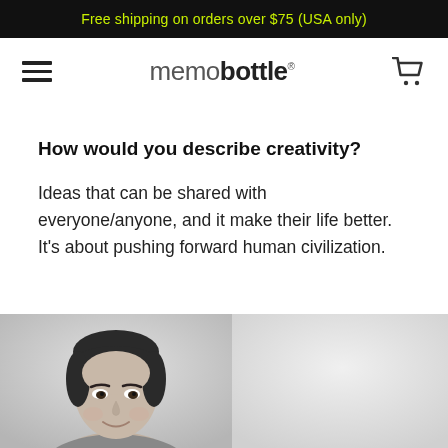Free shipping on orders over $75 (USA only)
[Figure (screenshot): memobottle website navigation bar with hamburger menu, logo, and cart icon]
How would you describe creativity?
Ideas that can be shared with everyone/anyone, and it make their life better. It's about pushing forward human civilization.
[Figure (photo): Black and white photo of a young Asian man smiling, cropped at bottom, split into two panels]